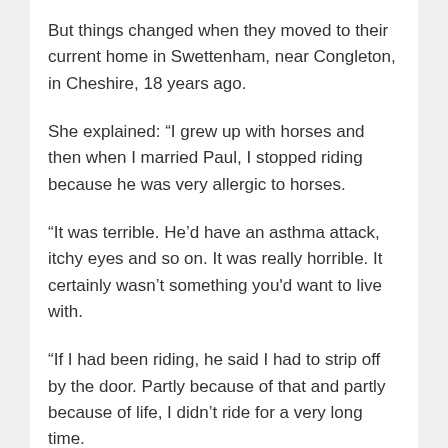But things changed when they moved to their current home in Swettenham, near Congleton, in Cheshire, 18 years ago.
She explained: “I grew up with horses and then when I married Paul, I stopped riding because he was very allergic to horses.
“It was terrible. He’d have an asthma attack, itchy eyes and so on. It was really horrible. It certainly wasn’t something you'd want to live with.
“If I had been riding, he said I had to strip off by the door. Partly because of that and partly because of life, I didn’t ride for a very long time.
“It was a choice between horses and him – and I